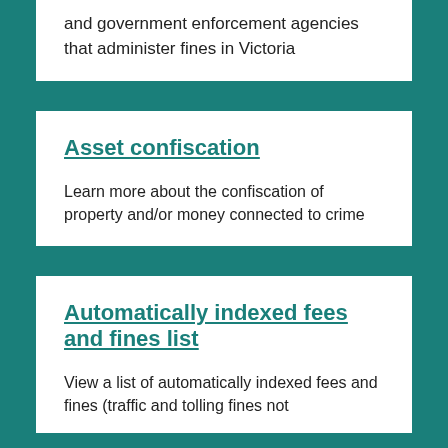and government enforcement agencies that administer fines in Victoria
Asset confiscation
Learn more about the confiscation of property and/or money connected to crime
Automatically indexed fees and fines list
View a list of automatically indexed fees and fines (traffic and tolling fines not